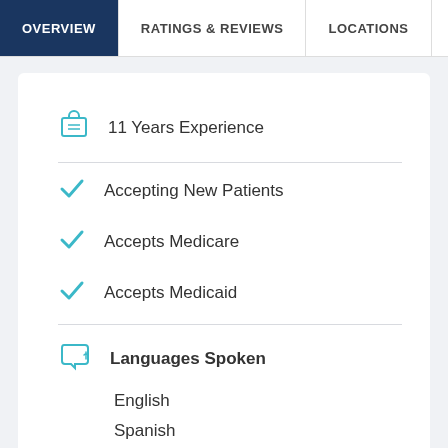OVERVIEW | RATINGS & REVIEWS | LOCATIONS | EX
11 Years Experience
Accepting New Patients
Accepts Medicare
Accepts Medicaid
Languages Spoken
English
Spanish
WebMD Care > Providers > Specialties > Family Medicine > MA > Mansfield > Dr. Stephanie J Muriglan, MD